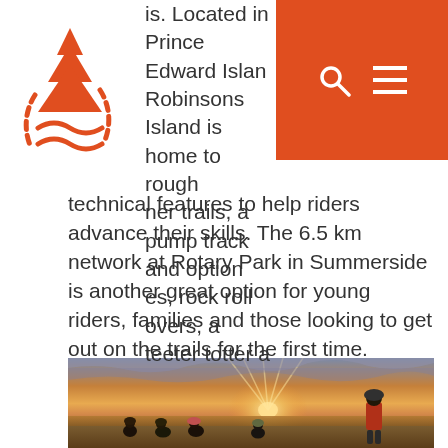[Figure (logo): Orange pine tree / mountain wave logo mark]
is. Located in Prince Edward Island, Robinsons Island is home to rough ner trails, a pump track and option es, rock roll overs, a teeter totter a technical features to help riders advance their skills. The 6.5 km network at Rotary Park in Summerside is another great option for young riders, families and those looking to get out on the trails for the first time.
[Figure (photo): Five mountain bikers wearing helmets sitting and standing on a sandy beach watching a dramatic sunset over water, with rays of light breaking through clouds.]